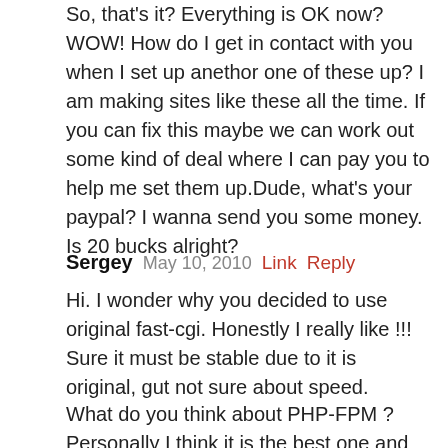So, that's it? Everything is OK now? WOW! How do I get in contact with you when I set up anethor one of these up? I am making sites like these all the time. If you can fix this maybe we can work out some kind of deal where I can pay you to help me set them up.Dude, what's your paypal? I wanna send you some money. Is 20 bucks alright?
Sergey  May 10, 2010  Link  Reply
Hi. I wonder why you decided to use original fast-cgi. Honestly I really like !!! Sure it must be stable due to it is original, gut not sure about speed.
What do you think about PHP-FPM ? Personally I think it is the best one and so far fastest due to...